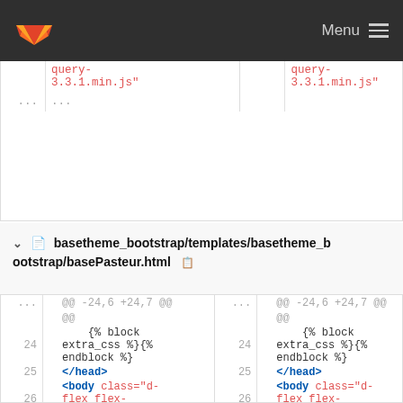GitLab — Menu
[Figure (screenshot): Partial diff view showing query-3.3.1.min.js" in red on both sides, with ellipsis rows]
basetheme_bootstrap/templates/basetheme_bootstrap/basePasteur.html
| line-old | diff-old | line-new | diff-new |
| --- | --- | --- | --- |
|  | @@ -24,6 +24,7 @@ |  | @@ -24,6 +24,7 @@ |
|  | @@ |  | @@ |
| 24 |     {% block extra_css %}{%
 endblock %} | 24 |     {% block extra_css %}{%
 endblock %} |
| 25 | </head> | 25 | </head> |
| 26 | <body class="d-flex flex-column h-100"> | 26 | <body class="d-flex flex-column h-100"> |
|  |  | 27 | + {% block header %} |
| 27 | {%
 include_if_exis | 28 | {%
 include_if_exis |